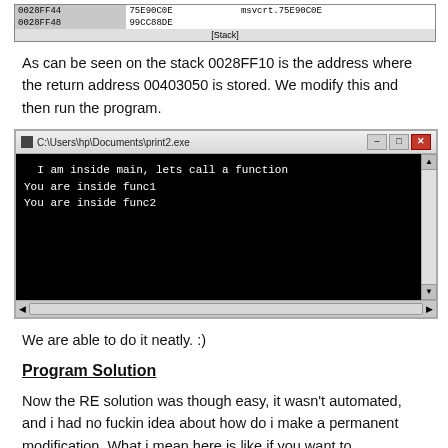[Figure (screenshot): Stack debugger view showing memory addresses: 0028FF44 with value 75E90C0E and label msvcrt.75E90C0E, and 0028FF48 with value 99CC88DE. Caption: [Stack]]
As can be seen on the stack 0028FF10 is the address where the return address 00403050 is stored. We modify this and then run the program.
[Figure (screenshot): Windows command prompt window titled C:\Users\hp\Documents\print2.exe showing output: 'I am inside main, lets call a function', 'You are inside func1', 'You are inside func2']
We are able to do it neatly. :)
Program Solution
Now the RE solution was though easy, it wasn't automated, and i had no fuckin idea about how do i make a permanent modification. What i mean here is like if you want to permanently change instructions, say that and kind of